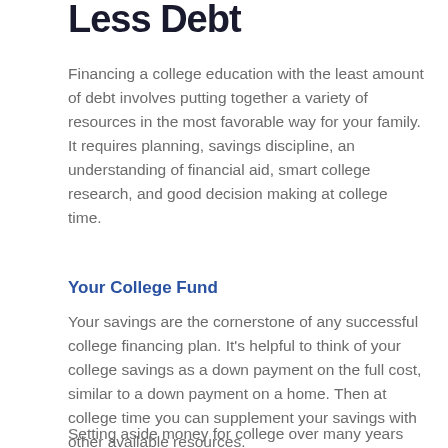Less Debt
Financing a college education with the least amount of debt involves putting together a variety of resources in the most favorable way for your family. It requires planning, savings discipline, an understanding of financial aid, smart college research, and good decision making at college time.
Your College Fund
Your savings are the cornerstone of any successful college financing plan. It’s helpful to think of your college savings as a down payment on the full cost, similar to a down payment on a home. Then at college time you can supplement your savings with other available resources.
Setting aside money for college over many years